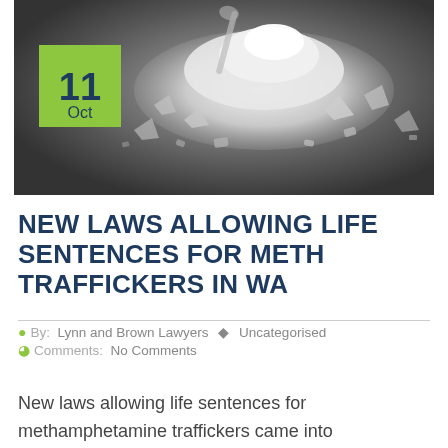[Figure (photo): Black and white photograph of a pile of crystal methamphetamine on a dark surface, with a green date badge overlay showing '11 Oct']
NEW LAWS ALLOWING LIFE SENTENCES FOR METH TRAFFICKERS IN WA
By: Lynn and Brown Lawyers  Uncategorised  Comments: No Comments
New laws allowing life sentences for methamphetamine traffickers came into operation on 13 September 2017 in Wes...